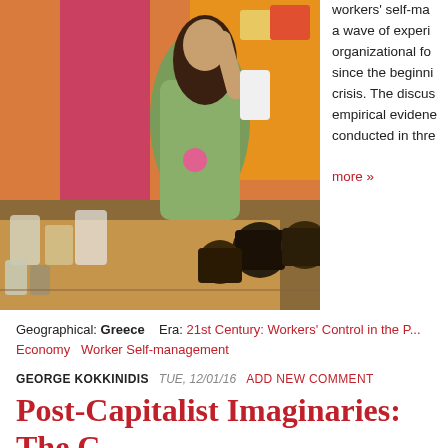[Figure (photo): A woman with long dark hair in a floral dress working behind a counter with jars and containers in a shop or cafe with colorful orange and pink walls.]
workers' self-management a wave of experiments organizational forms since the beginning crisis. The discussion empirical evidence conducted in three
more »
Geographical: Greece    Era: 21st Century: Workers' Control in the P... Economy   Worker Self-management
GEORGE KOKKINIDIS   TUE, 12/01/16   ADD NEW COMMENT
Post-Capitalist Imaginaries: The C... Worked Collectives in G...